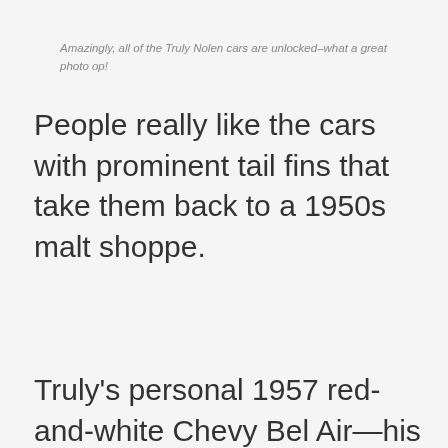Amazingly, all of the Truly Nolen cars are unlocked–what a great photo op!
People really like the cars with prominent tail fins that take them back to a 1950s malt shoppe.
Truly's personal 1957 red-and-white Chevy Bel Air—his daily driver—is a valued